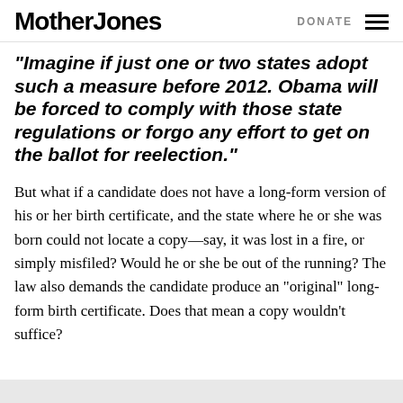Mother Jones   DONATE
“Imagine if just one or two states adopt such a measure before 2012. Obama will be forced to comply with those state regulations or forgo any effort to get on the ballot for reelection.”
But what if a candidate does not have a long-form version of his or her birth certificate, and the state where he or she was born could not locate a copy—say, it was lost in a fire, or simply misfiled? Would he or she be out of the running? The law also demands the candidate produce an “original” long-form birth certificate. Does that mean a copy wouldn’t suffice?